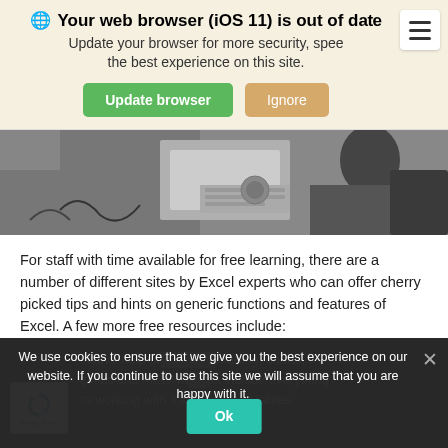🌐 Your web browser (iOS 11) is out of date. Update your browser for more security, speed and the best experience on this site.
[Figure (screenshot): Update browser button (green) and Ignore button (orange/tan) with hamburger menu icon in top right]
[Figure (photo): Black and white photo of an office/classroom environment with people working at desks with computers and papers]
For staff with time available for free learning, there are a number of different sites by Excel experts who can offer cherry picked tips and hints on generic functions and features of Excel. A few more free resources include:
We use cookies to ensure that we give you the best experience on our website. If you continue to use this site we will assume that you are happy with it.
ensive help on formatting, charts, iphics and much m ps include everything rn working with frac to pivot tables.